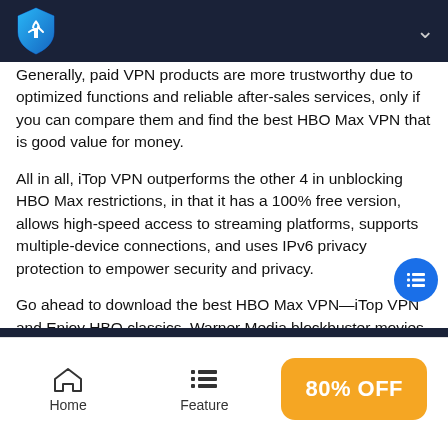iTop VPN header with logo and menu chevron
Generally, paid VPN products are more trustworthy due to optimized functions and reliable after-sales services, only if you can compare them and find the best HBO Max VPN that is good value for money.
All in all, iTop VPN outperforms the other 4 in unblocking HBO Max restrictions, in that it has a 100% free version, allows high-speed access to streaming platforms, supports multiple-device connections, and uses IPv6 privacy protection to empower security and privacy.
Go ahead to download the best HBO Max VPN—iTop VPN and Enjoy HBO classics, Warner Media blockbuster movies, and more from anywhere!
Home | Feature | 80% OFF